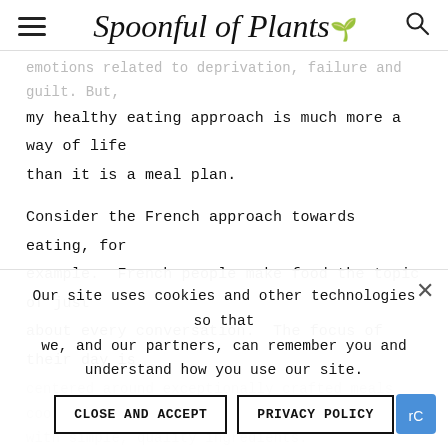Spoonful of Plants
emotions related to deprivation, failure and guilt. But, my healthy eating approach is much more a way of life than it is a meal plan.
Consider the French approach towards eating, for example.  French people make food the topic of just about every conversation.  The focus of their day is
centered around exceptionally crafted meals cooked with simple, quality ingredients.  Interestingly, they have much lower rates of obesity and diet-related disease than we do here in America.  Perhaps, instead of thinking of healthy eating as restrictive, we could to appreciate good food and have a greater respe...
Our site uses cookies and other technologies so that we, and our partners, can remember you and understand how you use our site.
CLOSE AND ACCEPT   PRIVACY POLICY